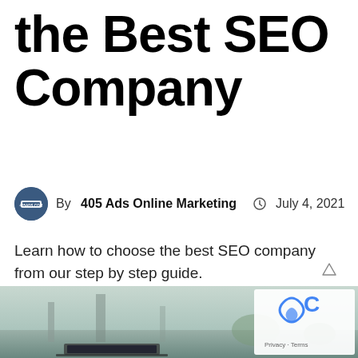the Best SEO Company
By 405 Ads Online Marketing  July 4, 2021
Learn how to choose the best SEO company from our step by step guide.
READ MORE...
[Figure (photo): Outdoor street/urban scene with a laptop visible at bottom, blurred background with vegetation and street, reCAPTCHA privacy badge overlay in bottom right corner]